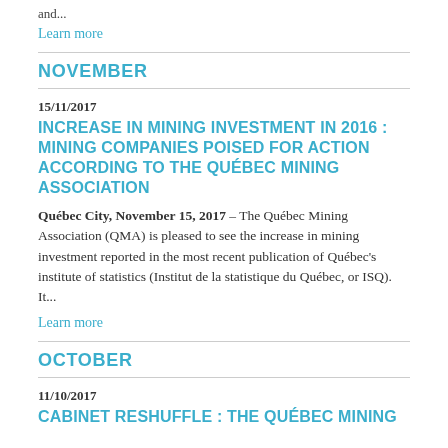and...
Learn more
NOVEMBER
15/11/2017
INCREASE IN MINING INVESTMENT IN 2016 : MINING COMPANIES POISED FOR ACTION ACCORDING TO THE QUÉBEC MINING ASSOCIATION
Québec City, November 15, 2017 – The Québec Mining Association (QMA) is pleased to see the increase in mining investment reported in the most recent publication of Québec's institute of statistics (Institut de la statistique du Québec, or ISQ). It...
Learn more
OCTOBER
11/10/2017
CABINET RESHUFFLE : THE QUÉBEC MINING